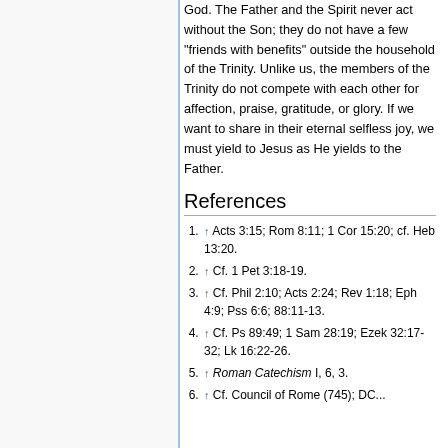God. The Father and the Spirit never act without the Son; they do not have a few "friends with benefits" outside the household of the Trinity. Unlike us, the members of the Trinity do not compete with each other for affection, praise, gratitude, or glory. If we want to share in their eternal selfless joy, we must yield to Jesus as He yields to the Father.
References
↑ Acts 3:15; Rom 8:11; 1 Cor 15:20; cf. Heb 13:20.
↑ Cf. 1 Pet 3:18-19.
↑ Cf. Phil 2:10; Acts 2:24; Rev 1:18; Eph 4:9; Pss 6:6; 88:11-13.
↑ Cf. Ps 89:49; 1 Sam 28:19; Ezek 32:17-32; Lk 16:22-26.
↑ Roman Catechism I, 6, 3.
↑ Cf. Council of Rome (745); DC...